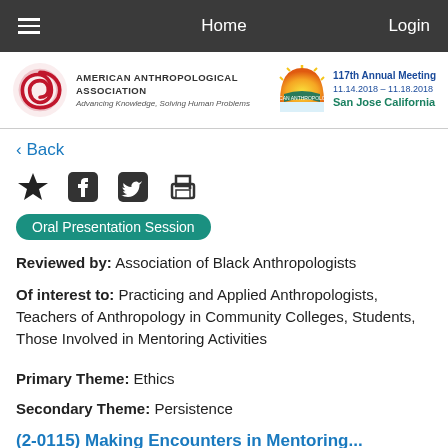Home | Login
[Figure (logo): American Anthropological Association logo with spiral and text, plus 117th Annual Meeting badge for San Jose California 11.14.2018-11.18.2018]
< Back
[Figure (infographic): Row of social/action icons: star (bookmark), Facebook, Twitter, Print]
Oral Presentation Session
Reviewed by: Association of Black Anthropologists
Of interest to: Practicing and Applied Anthropologists, Teachers of Anthropology in Community Colleges, Students, Those Involved in Mentoring Activities
Primary Theme: Ethics
Secondary Theme: Persistence
(2-0115) Making Encounters in Mentoring...